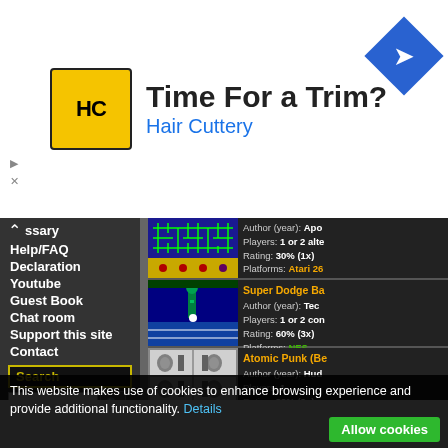[Figure (infographic): Advertisement banner for Hair Cuttery with logo, text 'Time For a Trim? Hair Cuttery', and navigation icon]
ssary
Help/FAQ
Declaration
Youtube
Guest Book
Chat room
Support this site
Contact
Search
Advanced Search
[Figure (screenshot): Game screenshot showing maze-like game]
Author (year): Apo
Players: 1 or 2 alte
Rating: 30% (1x)
Platforms: Atari 26
[Figure (screenshot): Super Dodge Ba game screenshot with Statue of Liberty background]
Super Dodge Ba
Author (year): Tec
Players: 1 or 2 con
Rating: 60% (3x)
Platforms: NES
[Figure (screenshot): Atomic Punk (Be game screenshot showing top-down puzzle game]
Atomic Punk (Be
Author (year): Hud
Players: 1
Rating: 83% (3x)
This website makes use of cookies to enhance browsing experience and provide additional functionality. Details
Allow cookies